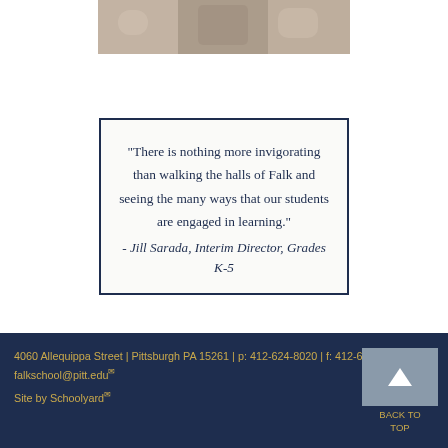[Figure (photo): Partial photo of students at a table, cropped at top of page]
"There is nothing more invigorating than walking the halls of Falk and seeing the many ways that our students are engaged in learning." - Jill Sarada, Interim Director, Grades K-5
4060 Allequippa Street | Pittsburgh PA 15261 | p: 412-624-8020 | f: 412-624-1303 | falkschool@pitt.edu
Site by Schoolyard
BACK TO TOP